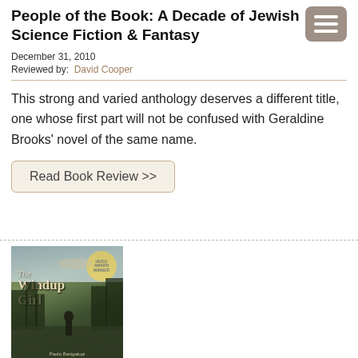People of the Book: A Decade of Jewish Science Fiction & Fantasy
December 31, 2010
Reviewed by: David Cooper
This strong and varied anthology deserves a different title, one whose first part will not be confused with Geraldine Brooks' novel of the same name.
Read Book Review >>
[Figure (photo): Book cover of 'The Windup Girl' showing a post-apocalyptic cityscape scene with an illustrated figure, with a Hugo Award badge in the top right corner]